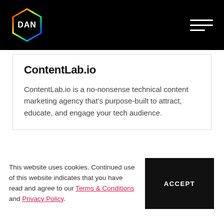[Figure (logo): DAN logo — hexagonal rainbow-outlined badge with white text 'DAN' on black background, top navigation bar]
ContentLab.io
ContentLab.io is a no-nonsense technical content marketing agency that's purpose-built to attract, educate, and engage your tech audience.
[Figure (other): Card with a pink/blush-colored rectangular placeholder image on the left side]
This website uses cookies. Continued use of this website indicates that you have read and agree to our Terms & Conditions and Privacy Policy.